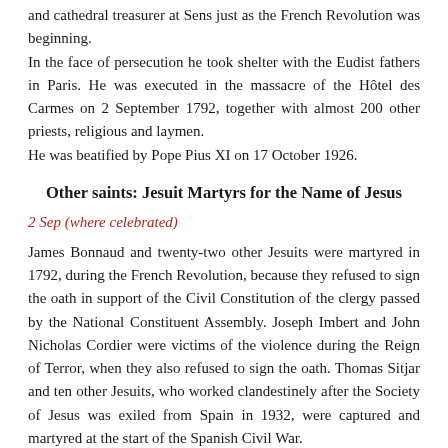and cathedral treasurer at Sens just as the French Revolution was beginning. In the face of persecution he took shelter with the Eudist fathers in Paris. He was executed in the massacre of the Hôtel des Carmes on 2 September 1792, together with almost 200 other priests, religious and laymen. He was beatified by Pope Pius XI on 17 October 1926.
Other saints: Jesuit Martyrs for the Name of Jesus
2 Sep (where celebrated)
James Bonnaud and twenty-two other Jesuits were martyred in 1792, during the French Revolution, because they refused to sign the oath in support of the Civil Constitution of the clergy passed by the National Constituent Assembly. Joseph Imbert and John Nicholas Cordier were victims of the violence during the Reign of Terror, when they also refused to sign the oath. Thomas Sitjar and ten other Jesuits, who worked clandestinely after the Society of Jesus was exiled from Spain in 1932, were captured and martyred at the start of the Spanish Civil War.
About the author of the Second Reading in today's Office of